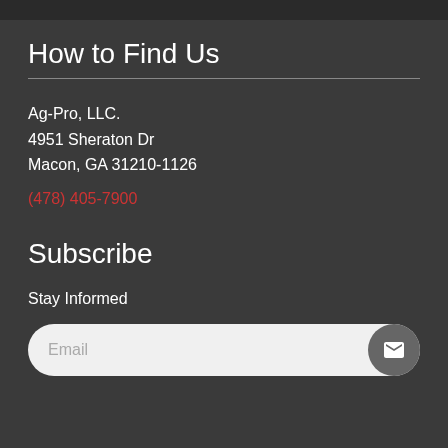How to Find Us
Ag-Pro, LLC.
4951 Sheraton Dr
Macon, GA 31210-1126
(478) 405-7900
Subscribe
Stay Informed
Email